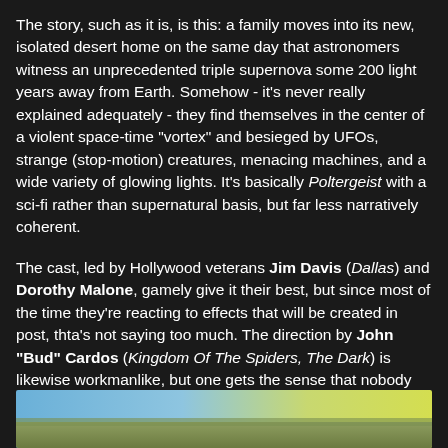The story, such as it is, is this: a family moves into its new, isolated desert home on the same day that astronomers witness an unprecedented triple supernova some 200 light years away from Earth. Somehow - it's never really explained adequately - they find themselves in the center of a violent space-time "vortex" and besieged by UFOs, strange (stop-motion) creatures, menacing machines, and a wide variety of glowing lights. It's basically Poltergeist with a sci-fi rather than supernatural basis, but far less narratively coherent.
The cast, led by Hollywood veterans Jim Davis (Dallas) and Dorothy Malone, gamely give it their best, but since most of the time they're reacting to effects that will be created in post, thta's not saying too much. The direction by John "Bud" Cardos (Kingdom Of The Spiders, The Dark) is likewise workmanlike, but one gets the sense that nobody involved - neither cast nor crew - quite knew what the story was supposed to be about.
[Figure (photo): Partial view of an outdoor scene, appears to show a landscape with blue sky and yellow-green tones, possibly a movie still.]